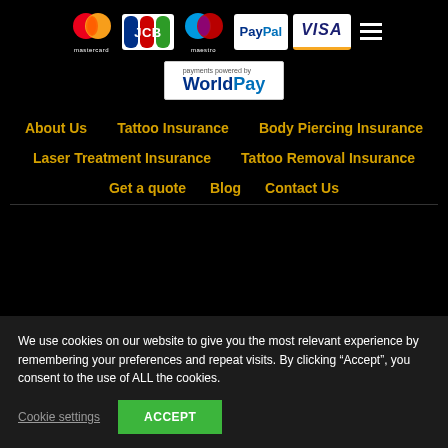[Figure (logo): Payment method logos: Mastercard, JCB, Maestro, PayPal, Visa, and WorldPay banner]
About Us
Tattoo Insurance
Body Piercing Insurance
Laser Treatment Insurance
Tattoo Removal Insurance
Get a quote
Blog
Contact Us
We use cookies on our website to give you the most relevant experience by remembering your preferences and repeat visits. By clicking “Accept”, you consent to the use of ALL the cookies.
Cookie settings
ACCEPT